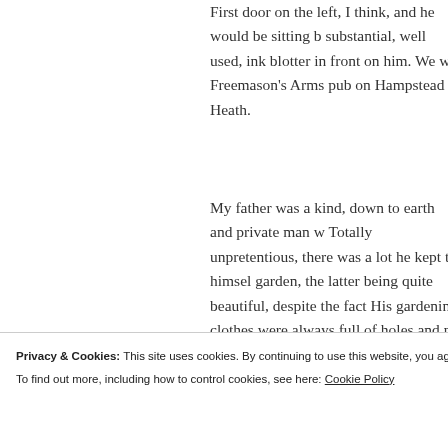First door on the left, I think, and he would be sitting b substantial, well used, ink blotter in front on him. We w Freemason's Arms pub on Hampstead Heath.
My father was a kind, down to earth and private man w Totally unpretentious, there was a lot he kept to himsel garden, the latter being quite beautiful, despite the fact His gardening clothes were always full of holes and pe could direct them to Mr Pedrick! He was married for 3 amazing support for him. Their love continued until his 1993.
I was delighted to see that he hadn't been forgotten and
Privacy & Cookies: This site uses cookies. By continuing to use this website, you agree to their use.
To find out more, including how to control cookies, see here: Cookie Policy
Close and accept